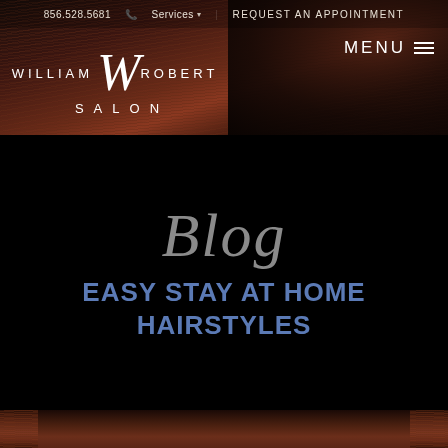856.528.5681  Services▾  REQUEST AN APPOINTMENT
[Figure (screenshot): William Robert Salon website header with dark hair background image, logo on left, MENU button on right]
Blog
EASY STAY AT HOME HAIRSTYLES
[Figure (photo): Close-up of dark brown glossy hair, bottom portion of page]